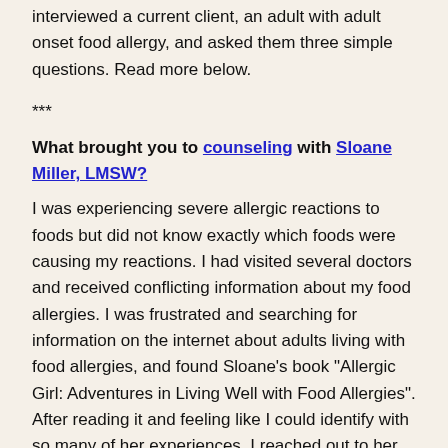interviewed a current client, an adult with adult onset food allergy, and asked them three simple questions. Read more below.
***
What brought you to counseling with Sloane Miller, LMSW?
I was experiencing severe allergic reactions to foods but did not know exactly which foods were causing my reactions.  I had visited several doctors and received conflicting information about my food allergies.  I was frustrated and searching for information on the internet about adults living with food allergies, and found Sloane's book "Allergic Girl: Adventures in Living Well with Food Allergies".  After reading it and feeling like I could identify with so many of her experiences, I reached out to her for support.